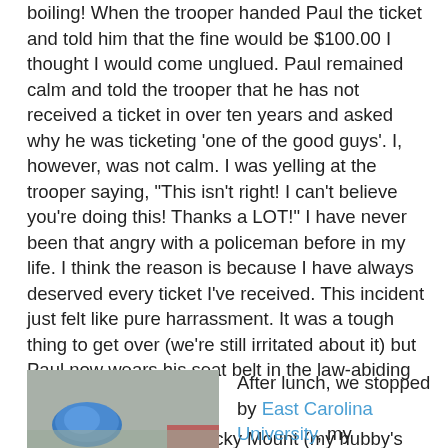boiling! When the trooper handed Paul the ticket and told him that the fine would be $100.00 I thought I would come unglued. Paul remained calm and told the trooper that he has not received a ticket in over ten years and asked why he was ticketing 'one of the good guys'. I, however, was not calm. I was yelling at the trooper saying, "This isn't right! I can't believe you're doing this! Thanks a LOT!" I have never been that angry with a policeman before in my life. I think the reason is because I have always deserved every ticket I've received. This incident just felt like pure harrassment. It was a tough thing to get over (we're still irritated about it) but Paul now wears his seat belt in the law-abiding way.
On the way back to Rocky Mount (my hubby's hometown), we made a stop at Greenville to have lunch at B's Barbecue. Unfortunately, they had run out of their famous barbecue, so we decided to get a cheese steak at Cubbie's instead. They've got the 'good ice', which is always a winner in my book!
[Figure (photo): A photo showing what appears to be a blue ball or object on a light background, partially visible at bottom left of the page.]
After lunch, we stopped by East Carolina University, my husband's alma